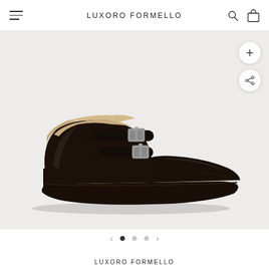LUXORO FORMELLO
[Figure (photo): Black leather double monk strap ankle boot with cap toe and silver buckles, shown in profile on a light grey background.]
LUXORO FORMELLO